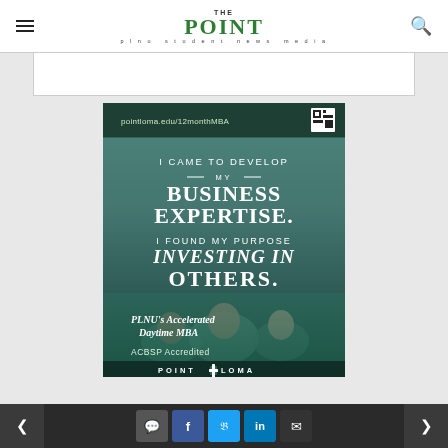THE POINT — plnu student news media
[Figure (illustration): PLNU Accelerated Daytime MBA advertisement. Dark teal/green header with URL pointloma.edu/12monthMBA and a QR code. White text on photographic background of three students: 'I CAME TO DEVELOP — MY — BUSINESS EXPERTISE. I FOUND MY PURPOSE INVESTING IN OTHERS.' Below: 'PLNU's Accelerated Daytime MBA', 'ACBSP Accredited', and 'POINT LOMA' logo at bottom.]
< [comment] [facebook] [twitter] [linkedin] [mail] >